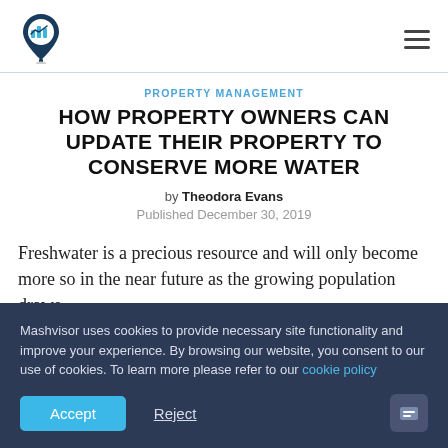Mashvisor logo and navigation
PROPERTY MANAGEMENT
HOW PROPERTY OWNERS CAN UPDATE THEIR PROPERTY TO CONSERVE MORE WATER
by Theodora Evans
Published December 30, 2019
Freshwater is a precious resource and will only become more so in the near future as the growing population draws
Mashvisor uses cookies to provide necessary site functionality and improve your experience. By browsing our website, you consent to our use of cookies. To learn more please refer to our cookie policy
Accept  Reject